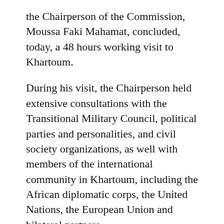the Chairperson of the Commission, Moussa Faki Mahamat, concluded, today, a 48 hours working visit to Khartoum.
During his visit, the Chairperson held extensive consultations with the Transitional Military Council, political parties and personalities, and civil society organizations, as well with members of the international community in Khartoum, including the African diplomatic corps, the United Nations, the European Union and bilateral partners.
The Chairperson took the opportunity of his visit to reiterate the African Union solidarity with the people of Sudan and support to their